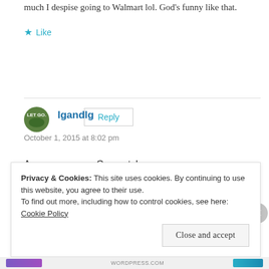much I despise going to Walmart lol. God's funny like that.
Like
Reply
lgandlg
October 1, 2015 at 8:02 pm
Awesome news. Congrats!
Privacy & Cookies: This site uses cookies. By continuing to use this website, you agree to their use.
To find out more, including how to control cookies, see here: Cookie Policy
Close and accept